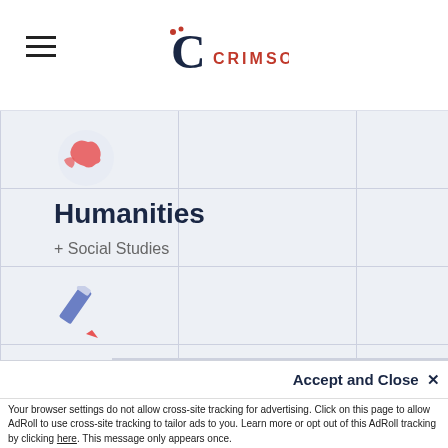Crimson Education — hamburger menu + logo
[Figure (logo): Crimson Education logo with stylized C and CRIMSON text in red]
[Figure (illustration): Globe icon — orange and red world map graphic]
Humanities
+ Social Studies
[Figure (illustration): Pencil icon — blue and red pencil graphic]
General Support
+ General Pre-GCSE
+ Homework Help
This website uses cookies to ensure you get the best experience on our website. Learn more
Accept and Close ✕
Your browser settings do not allow cross-site tracking for advertising. Click on this page to allow AdRoll to use cross-site tracking to tailor ads to you. Learn more or opt out of this AdRoll tracking by clicking here. This message only appears once.